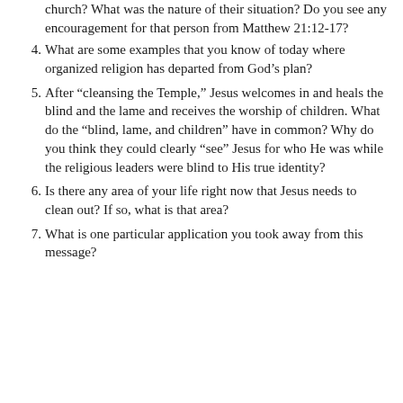church?  What was the nature of their situation?  Do you see any encouragement for that person from Matthew 21:12-17?
4. What are some examples that you know of today where organized religion has departed from God's plan?
5. After “cleansing the Temple,” Jesus welcomes in and heals the blind and the lame and receives the worship of children.  What do the “blind, lame, and children” have in common?  Why do you think they could clearly “see” Jesus for who He was while the religious leaders were blind to His true identity?
6. Is there any area of your life right now that Jesus needs to clean out?  If so, what is that area?
7. What is one particular application you took away from this message?